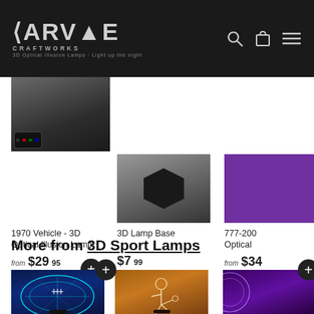CARVE CRAFTWORKS — 3D Optical Illusion Lamps · Light up the night
[Figure (photo): Product image: 1970 Vehicle 3D Optical Illusion Lamp]
1970 Vehicle - 3D Optical Illusion Lamp
from $29.95
[Figure (photo): Product image: 3D Lamp Base (hexagonal black base)]
3D Lamp Base
$7.99
[Figure (photo): Product image: 777-200 (partially visible), purple lit lamp]
777-200 Optical (partially visible)
from $34 (partially visible)
More from 3D Sport Lamps
[Figure (photo): Sport lamp: Football/rugby ball shaped 3D optical illusion lamp glowing blue]
[Figure (photo): Sport lamp: Soccer player kicking ball 3D optical illusion lamp glowing warm orange]
[Figure (photo): Sport lamp: partially visible purple lit circular lamp]